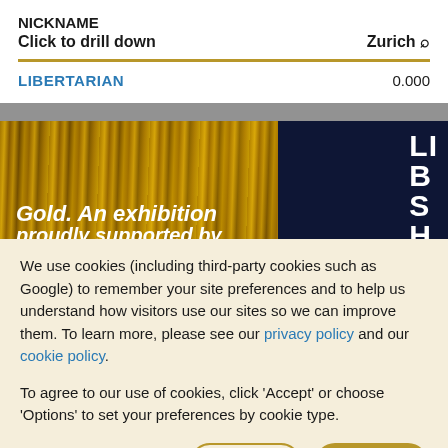NICKNAME
Click to drill down	Zurich 🔍
LIBERTARIAN	0.000
[Figure (photo): Gold. An exhibition proudly supported by — exhibition banner with gold metallic texture on left and dark navy background on right with white text 'LIB' / 'HS']
We use cookies (including third-party cookies such as Google) to remember your site preferences and to help us understand how visitors use our sites so we can improve them. To learn more, please see our privacy policy and our cookie policy.
To agree to our use of cookies, click 'Accept' or choose 'Options' to set your preferences by cookie type.